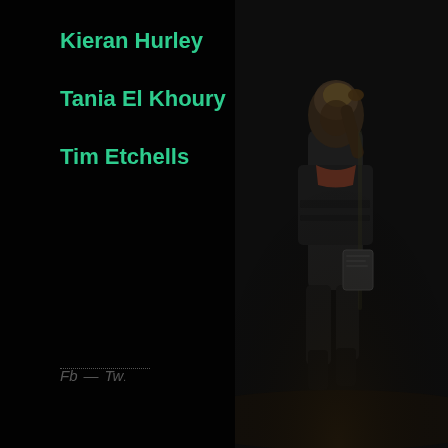[Figure (photo): Dark background image showing a figure/performer on the right side of the page, dimly lit against a black background]
Kieran Hurley
Tania El Khoury
Tim Etchells
Fb — Tw.